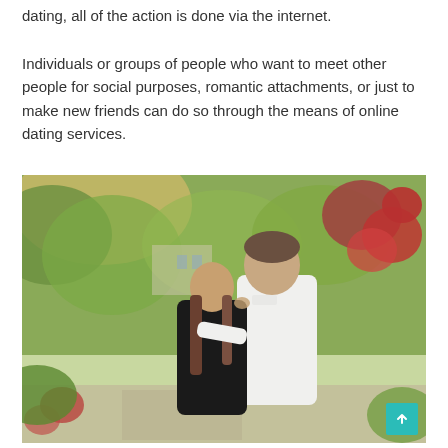dating, all of the action is done via the internet.
Individuals or groups of people who want to meet other people for social purposes, romantic attachments, or just to make new friends can do so through the means of online dating services.
[Figure (photo): A couple kissing outdoors in a garden setting with green foliage and red flowers in the background. The man is wearing a white shirt and the woman a black outfit. A white bench is visible in the background.]